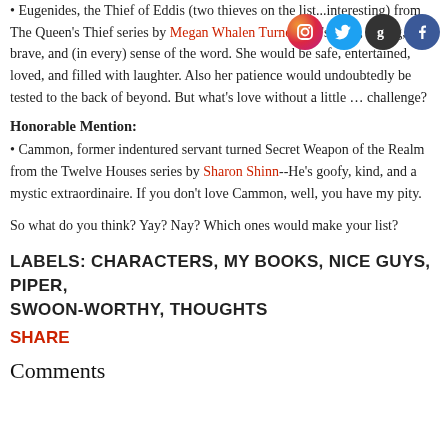• Eugenides, the Thief of Eddis (two thieves on the list...interesting) from The Queen's Thief series by Megan Whalen Turner--He's deep, loving, brave, and (in every) sense of the word. She would be safe, entertained, loved, and filled with laughter. Also her patience would undoubtedly be tested to the back of beyond. But what's love without a little ... challenge?
Honorable Mention:
• Cammon, former indentured servant turned Secret Weapon of the Realm from the Twelve Houses series by Sharon Shinn--He's goofy, kind, and a mystic extraordinaire. If you don't love Cammon, well, you have my pity.
So what do you think? Yay? Nay? Which ones would make your list?
LABELS: CHARACTERS, MY BOOKS, NICE GUYS, PIPER, SWOON-WORTHY, THOUGHTS
SHARE
Comments